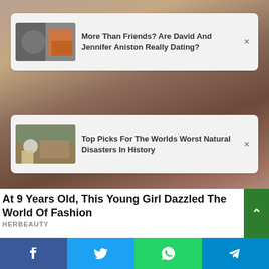[Figure (screenshot): Background photo of a woman with long brown hair, close-up face shot]
More Than Friends? Are David And Jennifer Aniston Really Dating?
Top Picks For The Worlds Worst Natural Disasters In History
At 9 Years Old, This Young Girl Dazzled The World Of Fashion
HERBEAUTY
[Figure (infographic): Social share bar with Facebook, Twitter, WhatsApp, and Telegram buttons]